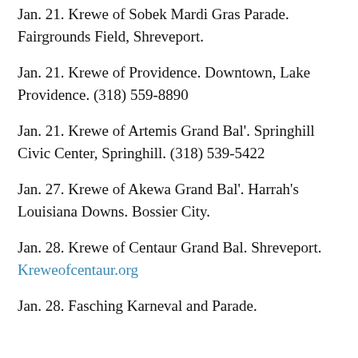Jan. 21. Krewe of Sobek Mardi Gras Parade. Fairgrounds Field, Shreveport.
Jan. 21. Krewe of Providence. Downtown, Lake Providence. (318) 559-8890
Jan. 21. Krewe of Artemis Grand Bal'. Springhill Civic Center, Springhill. (318) 539-5422
Jan. 27. Krewe of Akewa Grand Bal'. Harrah's Louisiana Downs. Bossier City.
Jan. 28. Krewe of Centaur Grand Bal. Shreveport. Kreweofcentaur.org
Jan. 28. Fasching Karneval and Parade.